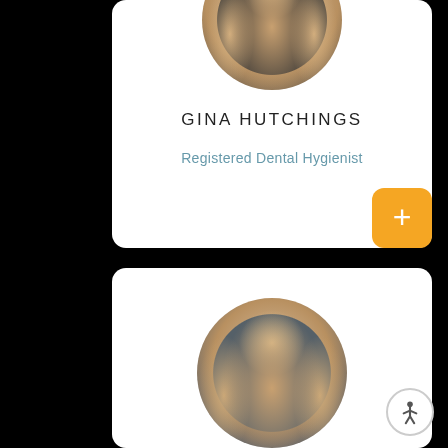[Figure (photo): Circular portrait photo of Gina Hutchings, a woman with blonde wavy hair]
GINA HUTCHINGS
Registered Dental Hygienist
[Figure (photo): Circular portrait photo of a woman with blonde wavy hair smiling, gray background]